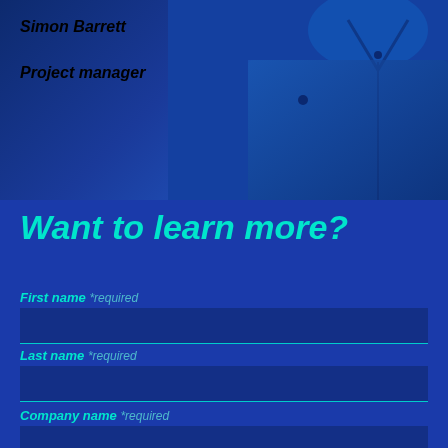Simon Barrett
Project manager
[Figure (photo): Person wearing a dark blue polo shirt, partially visible, dark blue background]
Want to learn more?
First name *required
Last name *required
Company name *required